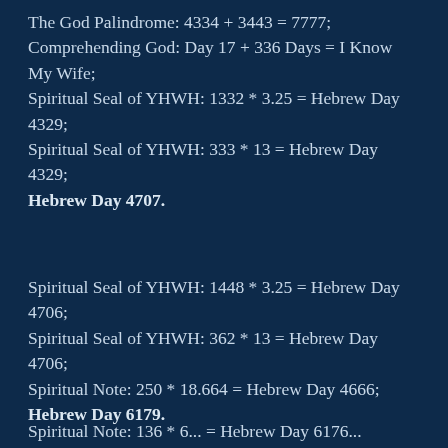The God Palindrome: 4334 + 3443 = 7777;
Comprehending God: Day 17 + 336 Days = I Know My Wife;
Spiritual Seal of YHWH: 1332 * 3.25 = Hebrew Day 4329;
Spiritual Seal of YHWH: 333 * 13 = Hebrew Day 4329;
Hebrew Day 4707.
Spiritual Seal of YHWH: 1448 * 3.25 = Hebrew Day 4706;
Spiritual Seal of YHWH: 362 * 13 = Hebrew Day 4706;
Spiritual Note: 250 * 18.664 = Hebrew Day 4666;
Hebrew Day 6179.
Spiritual Note: 136 * 6... = Hebrew Day 6176...